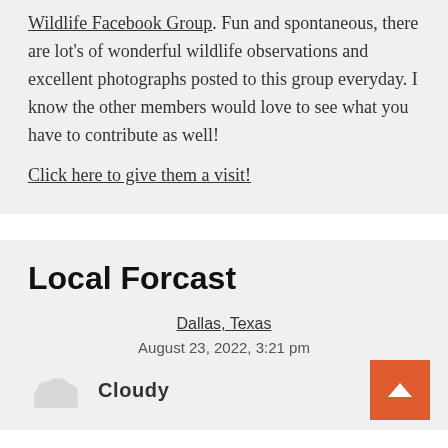Wildlife Facebook Group. Fun and spontaneous, there are lot's of wonderful wildlife observations and excellent photographs posted to this group everyday. I know the other members would love to see what you have to contribute as well!
Click here to give them a visit!
Local Forcast
Dallas, Texas
August 23, 2022, 3:21 pm
Cloudy